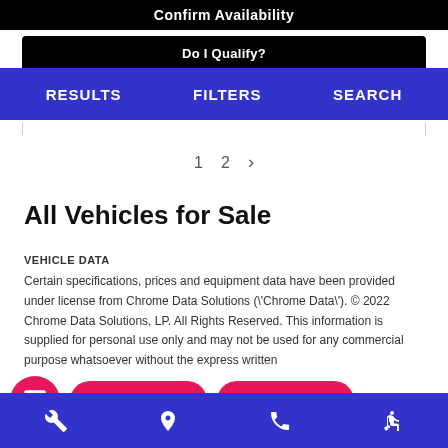Confirm Availability
Do I Qualify?
RESULTS  FILTERS  SEARCH
1  2  >
All Vehicles for Sale
VEHICLE DATA
Certain specifications, prices and equipment data have been provided under license from Chrome Data Solutions (\'Chrome Data\'). © 2022 Chrome Data Solutions, LP. All Rights Reserved. This information is supplied for personal use only and may not be used for any commercial purpose whatsoever without the express written
Trade or Sell?
Start Pre-Order
footer icons: wrench, location pin, phone, accessibility